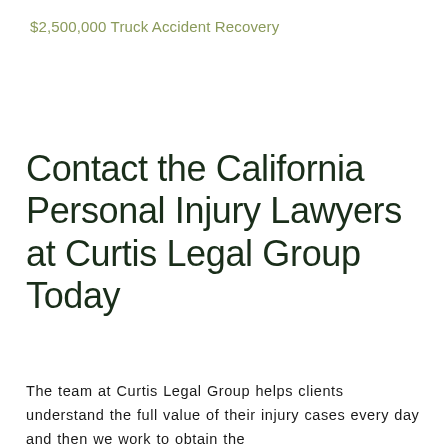$2,500,000 Truck Accident Recovery
Contact the California Personal Injury Lawyers at Curtis Legal Group Today
The team at Curtis Legal Group helps clients understand the full value of their injury cases every day and then we work to obtain the